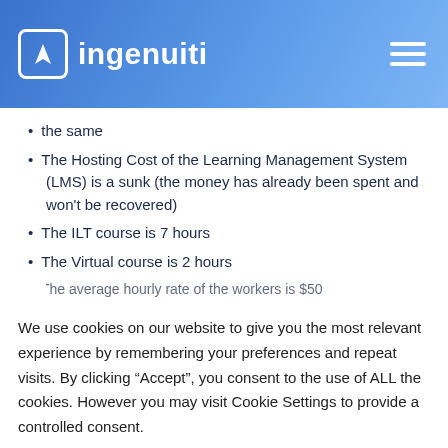ingenuiti
the same
The Hosting Cost of the Learning Management System (LMS) is a sunk (the money has already been spent and won't be recovered)
The ILT course is 7 hours
The Virtual course is 2 hours
The average hourly rate of the workers is $50
We use cookies on our website to give you the most relevant experience by remembering your preferences and repeat visits. By clicking “Accept”, you consent to the use of ALL the cookies. However you may visit Cookie Settings to provide a controlled consent.